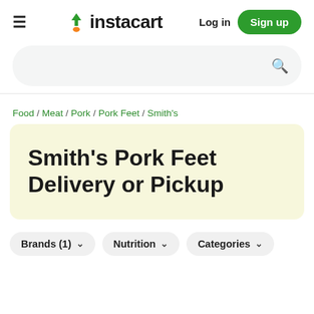instacart — Log in — Sign up
Food / Meat / Pork / Pork Feet / Smith's
Smith's Pork Feet Delivery or Pickup
Brands (1) ∨   Nutrition ∨   Categories ∨